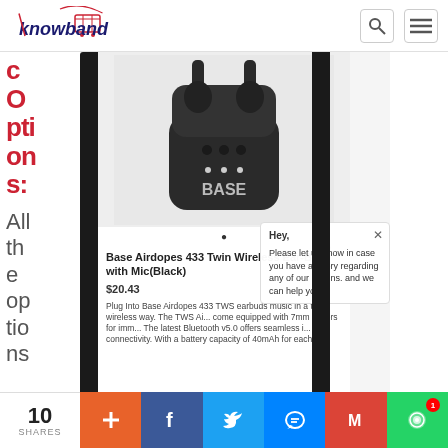[Figure (logo): Knowband logo with shopping cart icon, red and dark blue text]
Options:
All the options
[Figure (screenshot): Smartphone screen showing product listing for Base Airdopes 433 Twin Wireless Ear-Buds with Mic(Black) priced at $20.43 with product image and description]
Base Airdopes 433 Twin Wireless Ear-Buds with Mic(Black)
$20.43
Plug Into Base Airdopes 433 TWS earbuds music in a truly wireless way. The TWS Ai... come equipped with 7mm drivers for imm... The latest Bluetooth v5.0 offers seamless i... connectivity. With a battery capacity of 40mAh for each...
Hey. Please let us know in case you have a query regarding any of our plugins. and we can help you
10 SHARES
+ f (twitter) (messenger) M (chat)